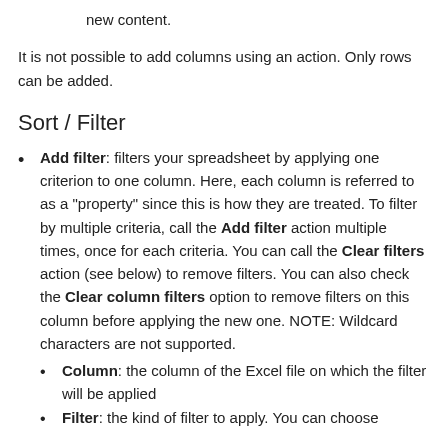new content.
It is not possible to add columns using an action. Only rows can be added.
Sort / Filter
Add filter: filters your spreadsheet by applying one criterion to one column. Here, each column is referred to as a "property" since this is how they are treated. To filter by multiple criteria, call the Add filter action multiple times, once for each criteria. You can call the Clear filters action (see below) to remove filters. You can also check the Clear column filters option to remove filters on this column before applying the new one. NOTE: Wildcard characters are not supported.
Column: the column of the Excel file on which the filter will be applied
Filter: the kind of filter to apply. You can choose